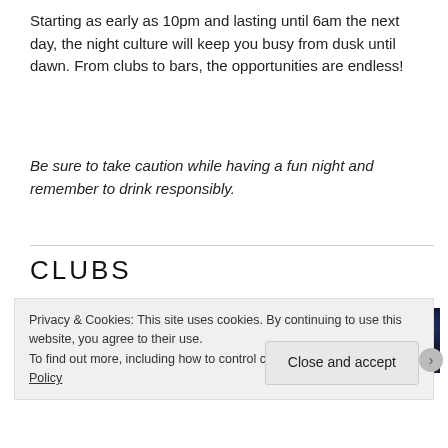Starting as early as 10pm and lasting until 6am the next day, the night culture will keep you busy from dusk until dawn. From clubs to bars, the opportunities are endless!
Be sure to take caution while having a fun night and remember to drink responsibly.
CLUBS
[Figure (photo): Dark nightclub scene with blue and purple lighting]
Privacy & Cookies: This site uses cookies. By continuing to use this website, you agree to their use.
To find out more, including how to control cookies, see here: Cookie Policy
Close and accept